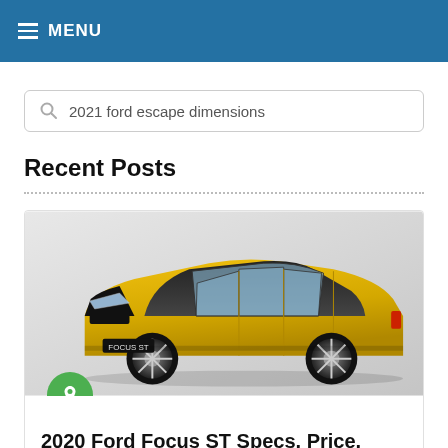MENU
2021 ford escape dimensions
Recent Posts
[Figure (photo): Yellow Ford Focus ST hatchback car on a grey background, viewed from a front three-quarter angle. The car badge reads FOCUS ST.]
2020 Ford Focus ST Specs, Price, Release …